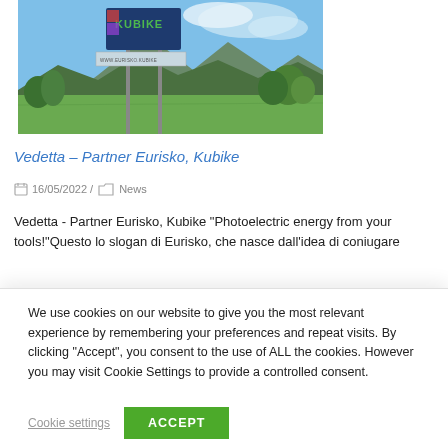[Figure (photo): Outdoor photo showing a Kubike branded billboard/sign structure with metal poles against a backdrop of alpine mountains, green fields, and blue sky with clouds.]
Vedetta – Partner Eurisko, Kubike
16/05/2022 /   News
Vedetta - Partner Eurisko, Kubike "Photoelectric energy from your tools!"Questo lo slogan di Eurisko, che nasce dall'idea di coniugare
We use cookies on our website to give you the most relevant experience by remembering your preferences and repeat visits. By clicking "Accept", you consent to the use of ALL the cookies. However you may visit Cookie Settings to provide a controlled consent.
Cookie settings   ACCEPT